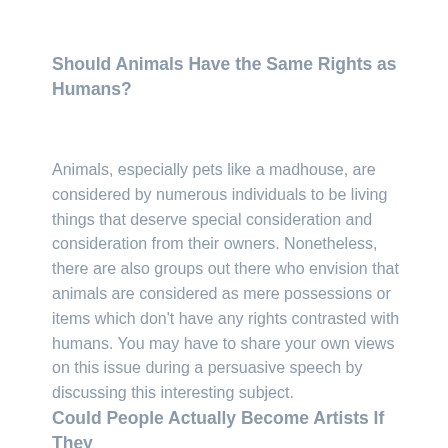Should Animals Have the Same Rights as Humans?
Animals, especially pets like a madhouse, are considered by numerous individuals to be living things that deserve special consideration and consideration from their owners. Nonetheless, there are also groups out there who envision that animals are considered as mere possessions or items which don't have any rights contrasted with humans. You may have to share your own views on this issue during a persuasive speech by discussing this interesting subject.
Could People Actually Become Artists If They